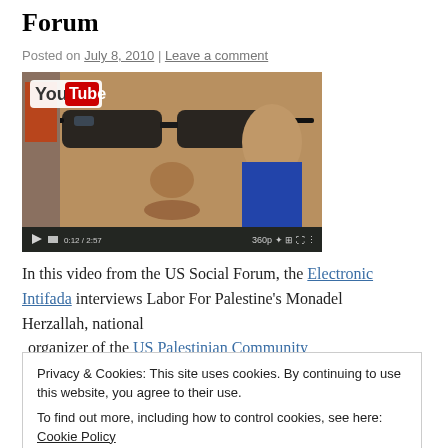Forum
Posted on July 8, 2010 | Leave a comment
[Figure (screenshot): YouTube video thumbnail showing a close-up of a man wearing glasses, with a woman in the background. YouTube logo visible in top-left. Video player controls at bottom.]
In this video from the US Social Forum, the Electronic Intifada interviews Labor For Palestine's Monadel Herzallah, national organizer of the US Palestinian Community
Privacy & Cookies: This site uses cookies. By continuing to use this website, you agree to their use.
To find out more, including how to control cookies, see here: Cookie Policy
Close and accept
false pretenses!